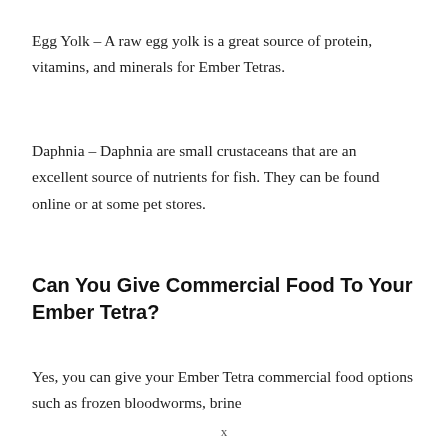Egg Yolk – A raw egg yolk is a great source of protein, vitamins, and minerals for Ember Tetras.
Daphnia – Daphnia are small crustaceans that are an excellent source of nutrients for fish. They can be found online or at some pet stores.
Can You Give Commercial Food To Your Ember Tetra?
Yes, you can give your Ember Tetra commercial food options such as frozen bloodworms, brine
x